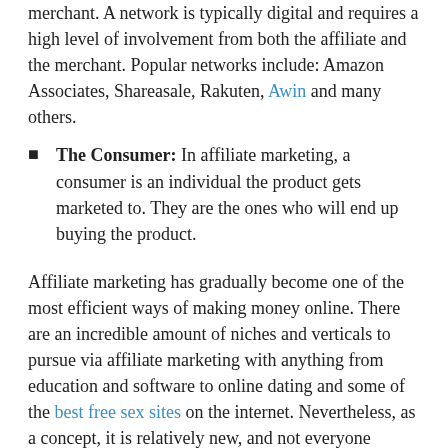merchant. A network is typically digital and requires a high level of involvement from both the affiliate and the merchant. Popular networks include: Amazon Associates, Shareasale, Rakuten, Awin and many others.
The Consumer: In affiliate marketing, a consumer is an individual the product gets marketed to. They are the ones who will end up buying the product.
Affiliate marketing has gradually become one of the most efficient ways of making money online. There are an incredible amount of niches and verticals to pursue via affiliate marketing with anything from education and software to online dating and some of the best free sex sites on the internet. Nevertheless, as a concept, it is relatively new, and not everyone understands how it works. If you want to utilize this method but are still confused about its basics, this